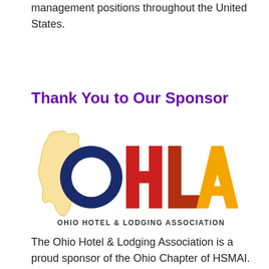management positions throughout the United States.
Thank You to Our Sponsor
[Figure (logo): OHLA - Ohio Hotel & Lodging Association logo with Ohio state silhouette in golden yellow, letters O (dark navy), H (red), L (dark red/orange), A (orange-yellow), and text 'OHIO HOTEL & LODGING ASSOCIATION' below.]
The Ohio Hotel & Lodging Association is a proud sponsor of the Ohio Chapter of HSMAI.